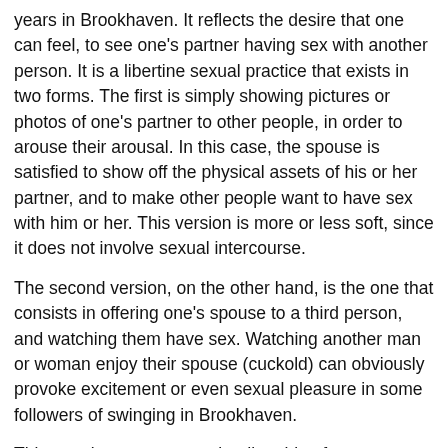years in Brookhaven. It reflects the desire that one can feel, to see one's partner having sex with another person. It is a libertine sexual practice that exists in two forms. The first is simply showing pictures or photos of one's partner to other people, in order to arouse their arousal. In this case, the spouse is satisfied to show off the physical assets of his or her partner, and to make other people want to have sex with him or her. This version is more or less soft, since it does not involve sexual intercourse.
The second version, on the other hand, is the one that consists in offering one's spouse to a third person, and watching them have sex. Watching another man or woman enjoy their spouse (cuckold) can obviously provoke excitement or even sexual pleasure in some followers of swinging in Brookhaven.
This practice can seem quite disturbing for some people, and this is easily understandable. For this reason, before acting, each spouse should ask himself or herself about his or her personal desires and feelings about the situation. Do not allow yourself to be taken advantage of simply because the other has suggested it, because after all, your well-being is at stake.